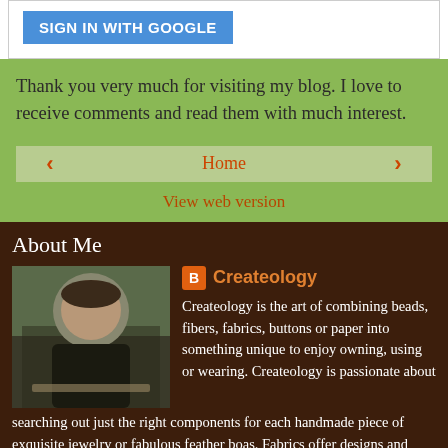[Figure (screenshot): Sign in with Google button on white background]
Thank you very much for visiting my blog. I love to receive comments and read them with much interest.
‹   Home   ›
View web version
About Me
Createology
Createology is the art of combining beads, fibers, fabrics, buttons or paper into something unique to enjoy owning, using or wearing. Createology is passionate about searching out just the right components for each handmade piece of exquisite jewelry or fabulous feather boas. Fabrics offer designs and themes that can direct the end product results be it a wearable item or a tote bag to use proudly. Most of our work is classic and traditional. We prefer simple elegance over trendy. Createology is an artistic umbrella that emcompasses